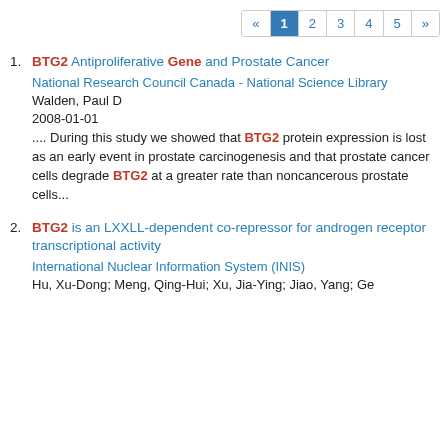« 1 2 3 4 5 »
BTG2 Antiproliferative Gene and Prostate Cancer
National Research Council Canada - National Science Library
Walden, Paul D
2008-01-01
.... During this study we showed that BTG2 protein expression is lost as an early event in prostate carcinogenesis and that prostate cancer cells degrade BTG2 at a greater rate than noncancerous prostate cells...
BTG2 is an LXXLL-dependent co-repressor for androgen receptor transcriptional activity
International Nuclear Information System (INIS)
Hu, Xu-Dong; Meng, Qing-Hui; Xu, Jia-Ying; Jiao, Yang; Ge